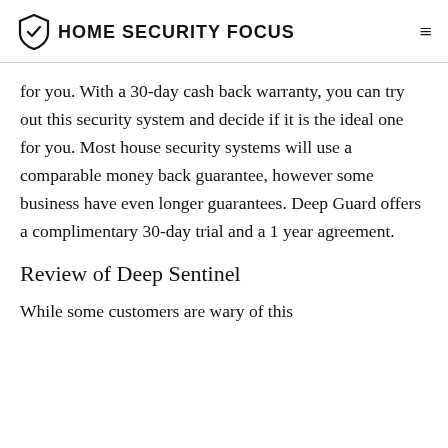HOME SECURITY FOCUS
for you. With a 30-day cash back warranty, you can try out this security system and decide if it is the ideal one for you. Most house security systems will use a comparable money back guarantee, however some business have even longer guarantees. Deep Guard offers a complimentary 30-day trial and a 1 year agreement.
Review of Deep Sentinel
While some customers are wary of this